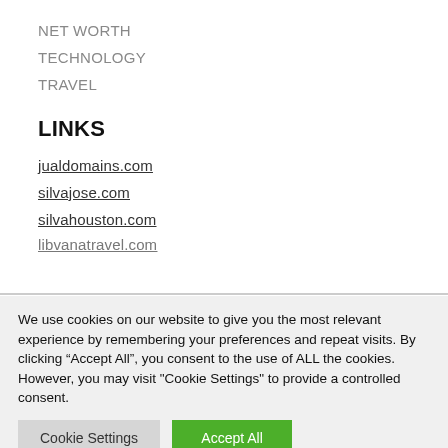NET WORTH
TECHNOLOGY
TRAVEL
LINKS
jualdomains.com
silvajose.com
silvahouston.com
libvanatravel.com
We use cookies on our website to give you the most relevant experience by remembering your preferences and repeat visits. By clicking “Accept All”, you consent to the use of ALL the cookies. However, you may visit "Cookie Settings" to provide a controlled consent.
Cookie Settings | Accept All